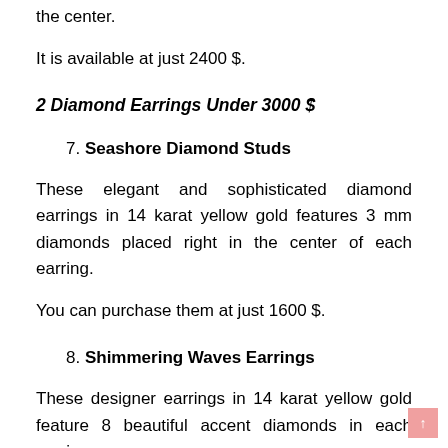the center.
It is available at just 2400 $.
2 Diamond Earrings Under 3000 $
7. Seashore Diamond Studs
These elegant and sophisticated diamond earrings in 14 karat yellow gold features 3 mm diamonds placed right in the center of each earring.
You can purchase them at just 1600 $.
8. Shimmering Waves Earrings
These designer earrings in 14 karat yellow gold feature 8 beautiful accent diamonds in each earring.